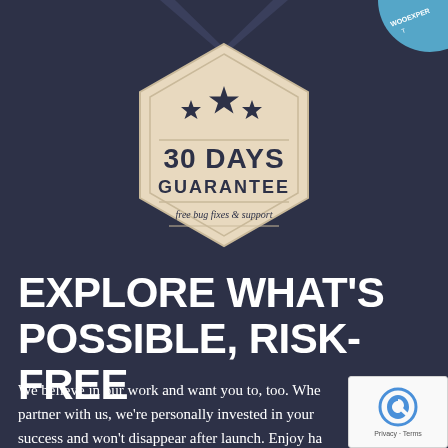[Figure (logo): Woo Expert badge circle, partially visible in top-right corner]
[Figure (illustration): Hexagonal badge with beige/cream background, three stars at top, text '30 DAYS GUARANTEE' in bold dark letters, subtitle 'free bug fixes & support' in italic, decorative horizontal lines and geometric shape details]
EXPLORE WHAT'S POSSIBLE, RISK-FREE
We believe in our work and want you to, too. When you partner with us, we're personally invested in your success and won't disappear after launch. Enjoy ha...